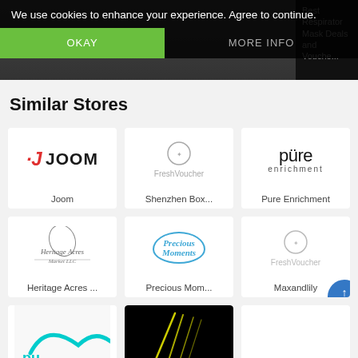[Figure (screenshot): Website screenshot showing a cookie consent banner overlay on a shopping deals page. The banner reads 'We use cookies to enhance your experience. Agree to continue.' with OKAY and MORE INFO buttons.]
We use cookies to enhance your experience. Agree to continue.
Similar Stores
[Figure (logo): Joom logo - stylized J with dot and JOOM text]
Joom
[Figure (logo): FreshVoucher logo - gray circular emblem with FreshVoucher text]
Shenzhen Box...
[Figure (logo): Pure Enrichment logo - text with blue water drop]
Pure Enrichment
[Figure (logo): Heritage Acres Market LLC logo - feather illustration with script text]
Heritage Acres ...
[Figure (logo): Precious Moments logo - blue heart-shaped text design]
Precious Mom...
[Figure (logo): FreshVoucher logo placeholder for Maxandlily]
Maxandlily
[Figure (logo): Cyan colored logo partially visible at bottom]
[Figure (screenshot): Dark background image with yellow diagonal lines]
[Figure (logo): Empty white card at bottom right]